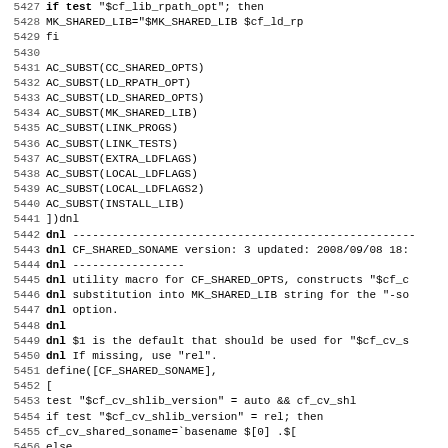Source code listing lines 5427-5459, autoconf macro definitions for CF_SHARED_SONAME and related AC_SUBST calls.